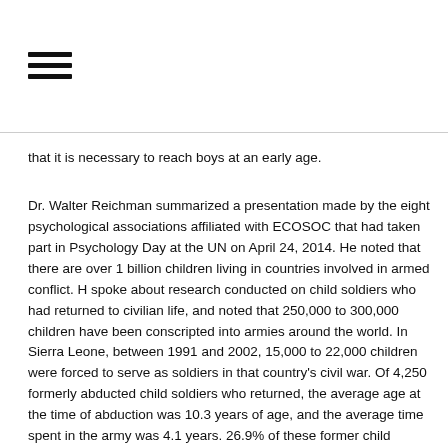[Figure (other): Hamburger menu icon (three horizontal lines)]
that it is necessary to reach boys at an early age.
Dr. Walter Reichman summarized a presentation made by the eight psychological associations affiliated with ECOSOC that had taken part in Psychology Day at the UN on April 24, 2014. He noted that there are over 1 billion children living in countries involved in armed conflict. H spoke about research conducted on child soldiers who had returned to civilian life, and noted that 250,000 to 300,000 children have been conscripted into armies around the world. In Sierra Leone, between 1991 and 2002, 15,000 to 22,000 children were forced to serve as soldiers in that country's civil war. Of 4,250 formerly abducted child soldiers who returned, the average age at the time of abduction was 10.3 years of age, and the average time spent in the army was 4.1 years. 26.9% of these former child soldiers reported killing or injuring other persons. 45% of the girls and 5% of boys had experienced sexual violence, and 50% were forced to use drugs or alcohol. Upon release, some were put into a training program These children faced stigmatization upon their return, poor academic achievement, enormous stress, interpersonal conflict, and a